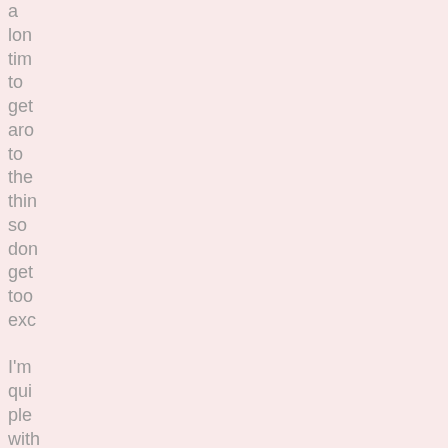a lon tim to get aro to the thin so don get too exc I'm qui ple with how the can out I'm